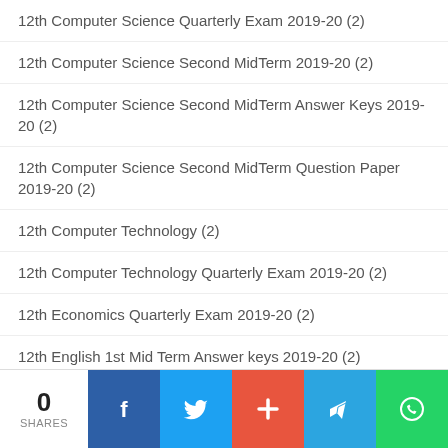12th Computer Science Quarterly Exam 2019-20 (2)
12th Computer Science Second MidTerm 2019-20 (2)
12th Computer Science Second MidTerm Answer Keys 2019-20 (2)
12th Computer Science Second MidTerm Question Paper 2019-20 (2)
12th Computer Technology (2)
12th Computer Technology Quarterly Exam 2019-20 (2)
12th Economics Quarterly Exam 2019-20 (2)
12th English 1st Mid Term Answer keys 2019-20 (2)
12th English 1st Mid Term Model Question Paper 2019-20 (2)
12th English Quarterly Exam 2019-20 (2)
0 SHARES | Facebook | Twitter | Plus | Telegram | WhatsApp